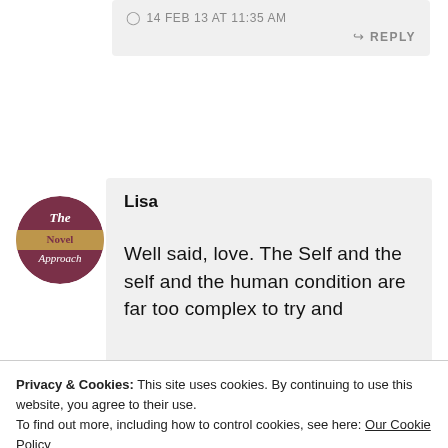14 FEB 13 AT 11:35 AM
REPLY
[Figure (logo): Circular avatar logo for 'The Novel Approach' website, dark red/maroon and gold coloring]
Lisa
Well said, love. The Self and the self and the human condition are far too complex to try and
Privacy & Cookies: This site uses cookies. By continuing to use this website, you agree to their use.
To find out more, including how to control cookies, see here: Our Cookie Policy
Close and accept
that someone else has